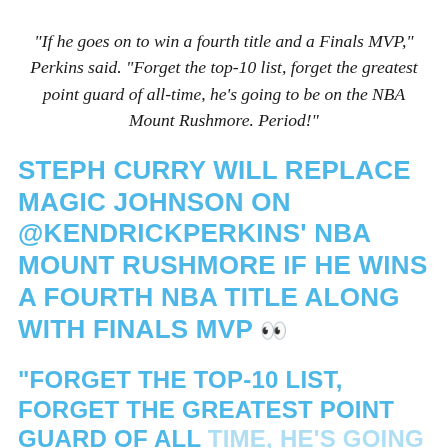“If he goes on to win a fourth title and a Finals MVP,” Perkins said. “Forget the top-10 list, forget the greatest point guard of all-time, he’s going to be on the NBA Mount Rushmore. Period!”
STEPH CURRY WILL REPLACE MAGIC JOHNSON ON @KENDRICKPERKINS’ NBA MOUNT RUSHMORE IF HE WINS A FOURTH NBA TITLE ALONG WITH FINALS MVP 👀
"FORGET THE TOP-10 LIST, FORGET THE GREATEST POINT GUARD OF ALL TIME, HE'S GOING TO BE ON THE NBA MOUNT RUSHMORE. PERIOD!"